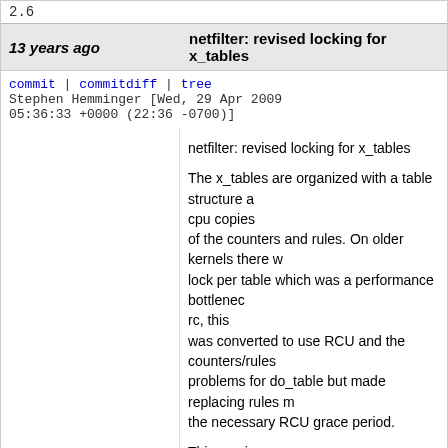2.6
13 years ago | netfilter: revised locking for x_tables
commit | commitdiff | tree   Stephen Hemminger [Wed, 29 Apr 2009 05:36:33 +0000 (22:36 -0700)]
netfilter: revised locking for x_tables

The x_tables are organized with a table structure and per cpu copies of the counters and rules. On older kernels there was a single lock per table which was a performance bottleneck. In 2.6.26-rc, this was converted to use RCU and the counters/rules which solved the problems for do_table but made replacing rules more expensive because of the necessary RCU grace period.

This version uses a per-cpu set of spinlocks and counters to allow to table processing to proceed without the cache thrashing and reader lock and keeps the same performance for the replace case.

Signed-off-by: Stephen Hemminger <shemminger@vyatta.com>
Acked-by: Linus Torvalds <torvalds@linux-foundation.org>
Signed-off-by: David S. Miller <davem@davemloft.net>